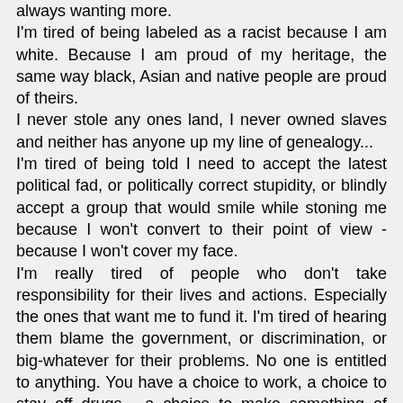always wanting more. I'm tired of being labeled as a racist because I am white. Because I am proud of my heritage, the same way black, Asian and native people are proud of theirs. I never stole any ones land, I never owned slaves and neither has anyone up my line of genealogy... I'm tired of being told I need to accept the latest political fad, or politically correct stupidity, or blindly accept a group that would smile while stoning me because I won't convert to their point of view - because I won't cover my face. I'm really tired of people who don't take responsibility for their lives and actions. Especially the ones that want me to fund it. I'm tired of hearing them blame the government, or discrimination, or big-whatever for their problems. No one is entitled to anything. You have a choice to work, a choice to stay off drugs - a choice to make something of yourself. I have nothing to do with your choice. That's all on you. No one is entitled to anything...